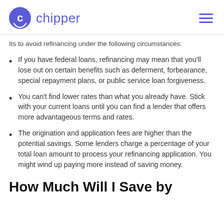chipper
Its to avoid refinancing under the following circumstances:
If you have federal loans, refinancing may mean that you'll lose out on certain benefits such as deferment, forbearance, special repayment plans, or public service loan forgiveness.
You can't find lower rates than what you already have. Stick with your current loans until you can find a lender that offers more advantageous terms and rates.
The origination and application fees are higher than the potential savings. Some lenders charge a percentage of your total loan amount to process your refinancing application. You might wind up paying more instead of saving money.
How Much Will I Save by